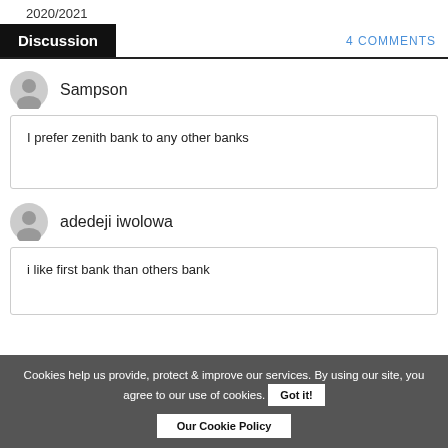2020/2021
Discussion  4 COMMENTS
Sampson
I prefer zenith bank to any other banks
adedeji iwolowa
i like first bank than others bank
Cookies help us provide, protect & improve our services. By using our site, you agree to our use of cookies. Got it! Our Cookie Policy